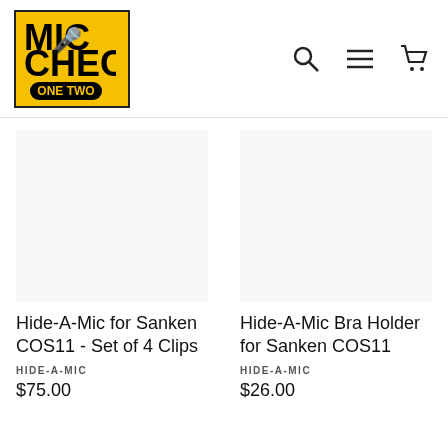[Figure (logo): Mic Check One Two logo - yellow square with black bold text MIC CHECK and ONE TWO on black oval badge]
[Figure (other): Navigation icons: search (magnifying glass), menu (hamburger lines), cart (shopping cart)]
[Figure (photo): Product image area for Hide-A-Mic for Sanken COS11 - Set of 4 Clips (white/empty)]
Hide-A-Mic for Sanken COS11 - Set of 4 Clips
HIDE-A-MIC
$75.00
[Figure (photo): Product image area for Hide-A-Mic Bra Holder for Sanken COS11 (white/empty)]
Hide-A-Mic Bra Holder for Sanken COS11
HIDE-A-MIC
$26.00